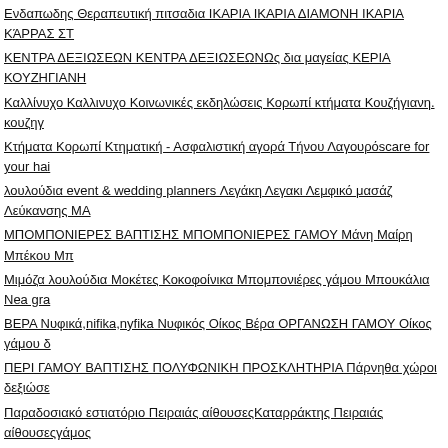Ενδαπωδης Θεραπευτική πιτσαδια ΙΚΑΡΙΑ ΙΚΑΡΙΑ ΔΙΑΜΟΝΗ ΙΚΑΡΙΑ ΚΆΡΡΑΣ ΣΤΑΘΜΟΣ ΚΕΝΤΡΑ ΔΕΞΙΩΣΕΩΝ ΚΕΝΤΡΑ ΔΕΞΙΩΣΕΩΝΩς δια μαγείας ΚΕΡΙΑ ΚΟΥΖΗΓΙΑΝΗ Καλλίνυχο Καλλινυχο Κοινωνικές εκδηλώσεις Κορωπί κτήματα Κουζήγιανη. κουζηγ Κτήματα Κορωπί Κτηματική - Ασφαλιστική αγορά Τήνου Λαγουρόscare for your hair λουλούδια event & wedding planners Λεγάκη Λεγακι Λεμφικό μασάζ Λεύκανσης ΜΑΛΛΙΑ ΜΠΟΜΠΟΝΙΕΡΕΣ ΒΑΠΤΙΣΗΣ ΜΠΟΜΠΟΝΙΕΡΕΣ ΓΑΜΟΥ Μάνη Μαίρη Μπέκου Μπεκου Μιμόζα λουλούδια Μοκέτες Κοκοφοίνικα Μπομπονιέρες γάμου Μπουκάλια Nea grafh ΒΕΡΑ Νυφικά,nifika,nyfika Νυφικός Οίκος Βέρα ΟΡΓΑΝΩΣΗ ΓΑΜΟΥ Οίκος γάμου δ ΠΕΡΙ ΓΑΜΟΥ ΒΑΠΤΙΣΗΣ ΠΟΛΥΦΩΝΙΚΗ ΠΡΟΣΚΛΗΤΗΡΙΑ Πάρνηθα χώροι δεξιώσεων Παραδοσιακό εστιατόριο Πειραιάς αίθουσεςΚαταρράκτης Πειραιάς αίθουσεςγάμος Βίλα Λώλου Προσκλητήρια ΡΑΧΙΔΙ Ρεφλεξολογία ΣΤΕΦΑΝΑ ΣΤΕΦΑΝΑ ΓΑΜΟΥ Είδη γάμου - βάπτισης ΣΤΟΛΙΣΜΟΣ ΒΑΠΤΙΣΗΣ ΣΤΟΛΙΣΜΟΣ ΓΑΜΟΥ Σπάρτη Σπάρτη Σύσφιξης ΤΕΛΕΙΑ ΤΕΛΕΙΑ ΠΡΟΣΚΛΗΤΗΡΙΑ Ταϋγετος Τοπικού Πάχους ΦΩΤΟΓΡΑΦΙΑ προσκλητήρια γάμου και βάπτισης ΩΣ ΔΙΑ ΜΑΓΕΙΑΣ άνθη ήχος αίθουγάμος αίθουσα αίθουσες δεξιώσεων αίθουσες δεξιώσεων dits αίθουσες δεξιώσεων Πάτσης cate αίθουσεφωτογράφηση γάμου αγγελίες αγγελίες ακινήτων αγορά αΚορμέντζα Δήμητρα δεξιωσεων Πάρνηθα αισθησιακοί χωροίκτήματα αισθητική ακίνητα αμπιγιέ ανδρεάδης